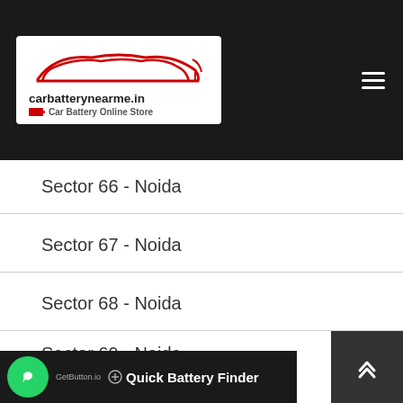carbatterynearme.in - Car Battery Online Store
Sector 66 - Noida
Sector 67 - Noida
Sector 68 - Noida
Sector 69 - Noida
Sector 70 - Noida
Sector 71 - Noida
Quick Battery Finder